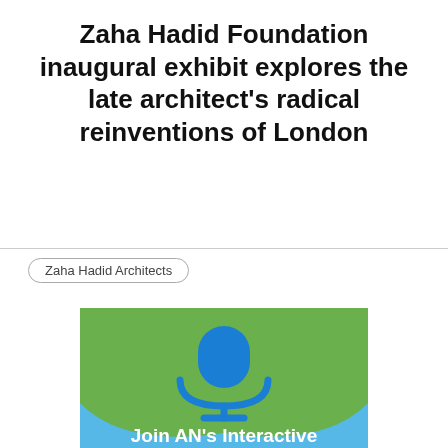Zaha Hadid Foundation inaugural exhibit explores the late architect's radical reinventions of London
Zaha Hadid Architects
[Figure (infographic): Green and blue advertisement banner with a blue microphone icon and text 'Join AN's Interactive' on a light blue lower section]